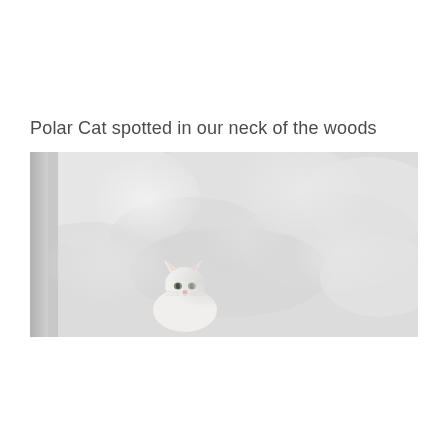Polar Cat spotted in our neck of the woods
[Figure (photo): A white cat sitting in snow. The cat is nearly camouflaged against the white snowy background. The cat is positioned in the lower-center of the image, looking toward the camera. The scene appears to be outdoors in winter with deep snow visible.]